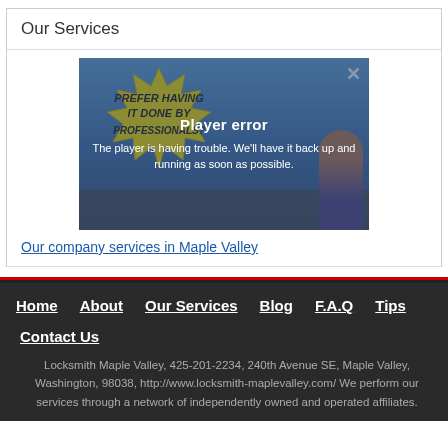Our Services
[Figure (screenshot): Video player showing a cartoon locksmith scene with a yellow burst containing text 'Prefer Having It Done By Professionals?' overlaid with a 'Player error' message: 'The player is having trouble. We'll have it back up and running as soon as possible.']
Our company services in Maple Valley
Home  About  Our Services  Blog  F.A.Q  Tips  Contact Us
Locksmith Maple Valley, 425-201-2234, 240th Avenue SE, Maple Valley, Washington, 98038, http://www.locksmith-maplevalley.com/ We perform our services through a network of independently owned and operated affiliates.